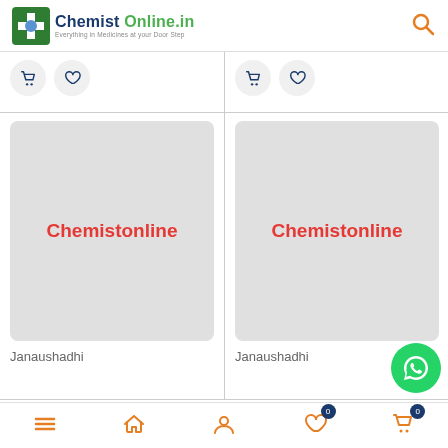[Figure (logo): Chemist Online.in logo with green cross icon and tagline 'Everything in Medicines at your Door Step']
[Figure (screenshot): Product listing grid showing two Janaushadhi products with Chemistonline placeholder images, basket and heart icons, with WhatsApp button and bottom navigation bar]
Janaushadhi
Janaushadhi